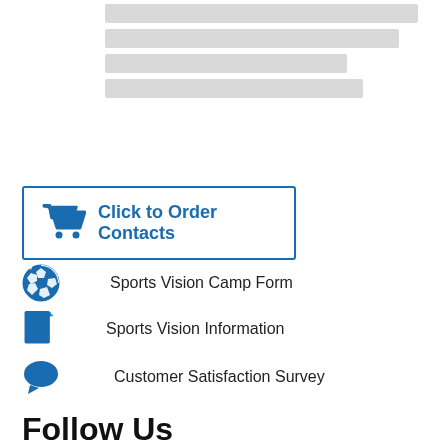[Figure (other): Skeleton/placeholder loading bars (grey rectangles)]
[Figure (other): Button with shopping cart icon: Click to Order Contacts]
Sports Vision Camp Form
Sports Vision Information
Customer Satisfaction Survey
Follow Us